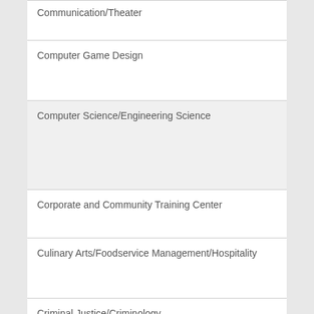Communication/Theater
Computer Game Design
Computer Science/Engineering Science
Corporate and Community Training Center
Culinary Arts/Foodservice Management/Hospitality
Criminal Justice/Criminology